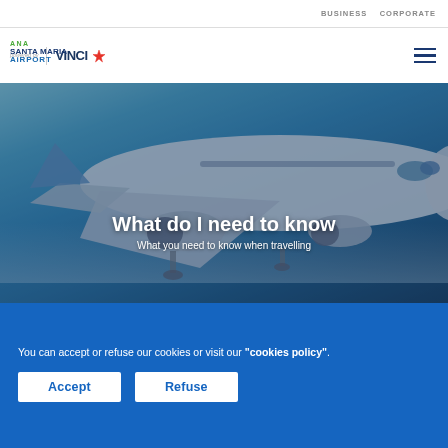BUSINESS  CORPORATE
[Figure (logo): Powered by VINCI Airports logo with star/cross symbol]
[Figure (logo): ANA Santa Maria Airport logo]
[Figure (photo): Commercial airplane in flight against blue sky background with heading text overlay: 'What do I need to know' and subtitle 'What you need to know when travelling']
What do I need to know
What you need to know when travelling
You can accept or refuse our cookies or visit our "cookies policy".
Accept
Refuse